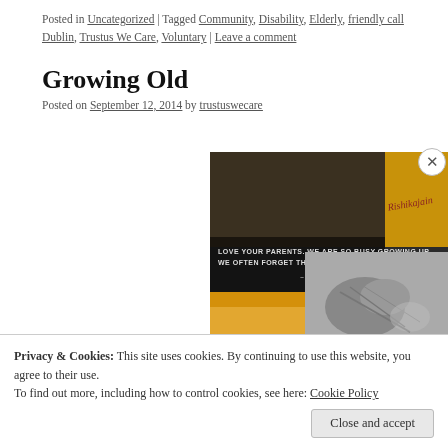Posted in Uncategorized | Tagged Community, Disability, Elderly, friendly call Dublin, Trustus We Care, Voluntary | Leave a comment
Growing Old
Posted on September 12, 2014 by trustuswecare
[Figure (photo): Motivational image with text: LOVE YOUR PARENTS. WE ARE SO BUSY GROWING UP, WE OFTEN FORGET THEY ARE ALSO GROWING OLD. ~ rishikajain.com — showing elderly hands and a couple, with golden/warm tones]
Privacy & Cookies: This site uses cookies. By continuing to use this website, you agree to their use.
To find out more, including how to control cookies, see here: Cookie Policy
Close and accept